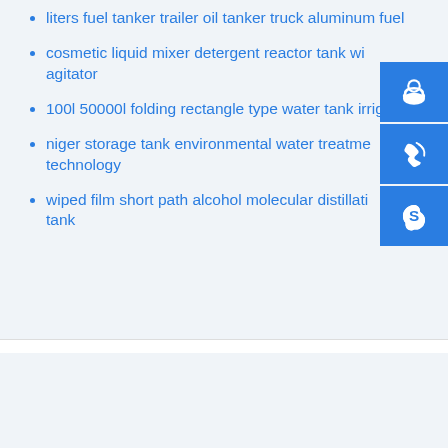liters fuel tanker trailer oil tanker truck aluminum fuel
cosmetic liquid mixer detergent reactor tank with agitator
100l 50000l folding rectangle type water tank irrigation w
niger storage tank environmental water treatment technology
wiped film short path alcohol molecular distillation tank
[Figure (infographic): Three blue square icon buttons stacked vertically on the right side: a customer support/headset icon, a phone/call icon, and a Skype icon]
Fuel storage tank